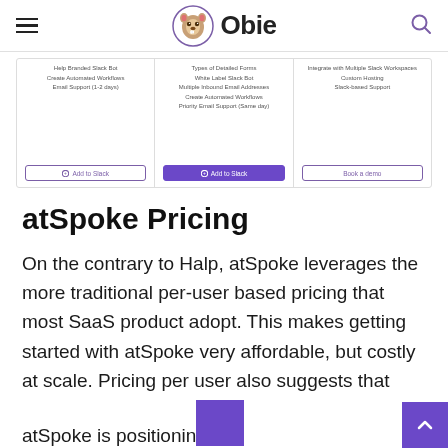Obie
[Figure (screenshot): Partial screenshot of a pricing comparison table with three columns showing features like 'Help Branded Slack Bot', 'Create Automated Workflows', 'Email Support (1-2 days)', 'Types of Detailed Forms', 'White Label Slack Bot', 'Multiple Inbound Email Addresses', 'Create Automated Workflows', 'Priority Email Support (Same day)', 'Integrate with Multiple Slack Workspaces', 'Custom Hosting', 'Slack-based Support', with buttons 'Add to Slack', 'Add to Slack' (filled purple), and 'Book a demo']
atSpoke Pricing
On the contrary to Halp, atSpoke leverages the more traditional per-user based pricing that most SaaS product adopt. This makes getting started with atSpoke very affordable, but costly at scale. Pricing per user also suggests that atSpoke is positioning themselves as a solution that provides value for